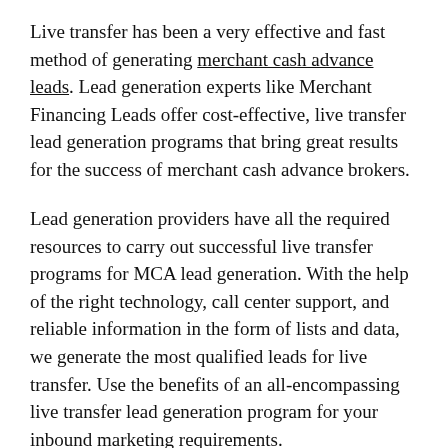Live transfer has been a very effective and fast method of generating merchant cash advance leads. Lead generation experts like Merchant Financing Leads offer cost-effective, live transfer lead generation programs that bring great results for the success of merchant cash advance brokers.
Lead generation providers have all the required resources to carry out successful live transfer programs for MCA lead generation. With the help of the right technology, call center support, and reliable information in the form of lists and data, we generate the most qualified leads for live transfer. Use the benefits of an all-encompassing live transfer lead generation program for your inbound marketing requirements.
Here are the benefits of choosing our program for live transfer lead generation: